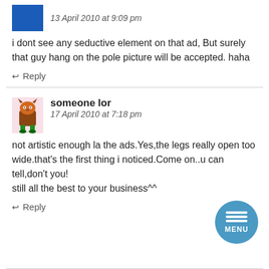[Figure (other): Blue avatar image for first commenter]
13 April 2010 at 9:09 pm
i dont see any seductive element on that ad, But surely that guy hang on the pole picture will be accepted. haha
Reply
[Figure (illustration): Cartoon monster avatar for user 'someone lor']
someone lor
17 April 2010 at 7:18 pm
not artistic enough la the ads.Yes,the legs really open too wide.that's the first thing i noticed.Come on..u can tell,don't you!
still all the best to your business^^
Reply